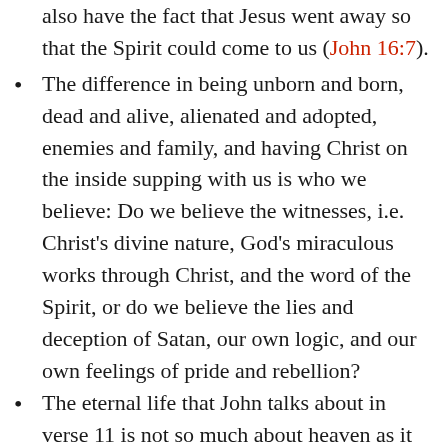also have the fact that Jesus went away so that the Spirit could come to us (John 16:7).
The difference in being unborn and born, dead and alive, alienated and adopted, enemies and family, and having Christ on the inside supping with us is who we believe: Do we believe the witnesses, i.e. Christ’s divine nature, God’s miraculous works through Christ, and the word of the Spirit, or do we believe the lies and deception of Satan, our own logic, and our own feelings of pride and rebellion?
The eternal life that John talks about in verse 11 is not so much about heaven as it is life RIGHT NOW. Heaven begins the moment Christ enters our hearts and lives. The life we live in the Son is from that moment on, all day, every day. It’s called the Jesus Walk and it’s a way of life. If...